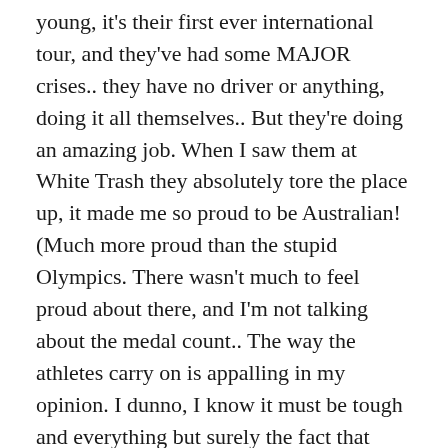young, it's their first ever international tour, and they've had some MAJOR crises.. they have no driver or anything, doing it all themselves.. But they're doing an amazing job. When I saw them at White Trash they absolutely tore the place up, it made me so proud to be Australian! (Much more proud than the stupid Olympics. There wasn't much to feel proud about there, and I'm not talking about the medal count.. The way the athletes carry on is appalling in my opinion. I dunno, I know it must be tough and everything but surely the fact that there can be only one winner must be foremost in their minds? You wouldn't think so. Anyway.)
But yeah, we booked a studio for four hours, Bitter Sweet Kicks and I, and recorded a few songs which I